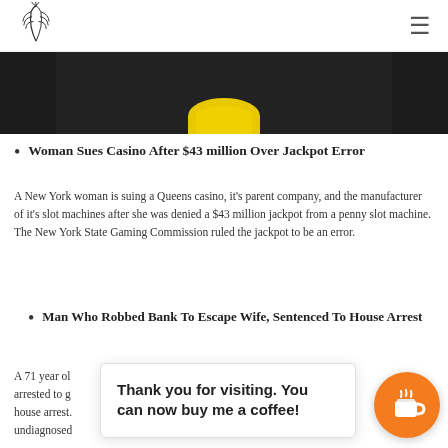[Logo] [Hamburger menu]
[Figure (photo): Partial photo of a dark background with a yellow ring/donut object visible at the top center]
Woman Sues Casino After $43 million Over Jackpot Error
A New York woman is suing a Queens casino, it's parent company, and the manufacturer of it's slot machines after she was denied a $43 million jackpot from a penny slot machine. The New York State Gaming Commission ruled the jackpot to be an error.
Man Who Robbed Bank To Escape Wife, Sentenced To House Arrest
A 71 year old … wanted to get arrested to g… months of house arrest. … was a undiagnosed…
Thank you for visiting. You can now buy me a coffee!